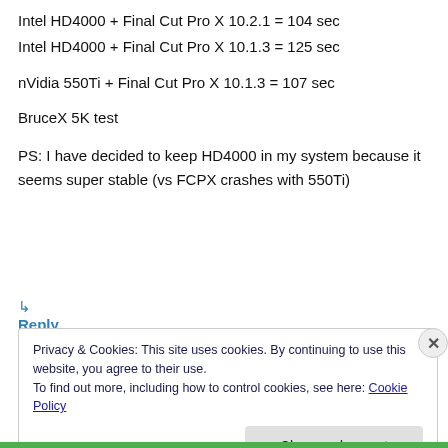Intel HD4000 + Final Cut Pro X 10.2.1 = 104 sec
Intel HD4000 + Final Cut Pro X 10.1.3 = 125 sec
nVidia 550Ti + Final Cut Pro X 10.1.3 = 107 sec
BruceX 5K test
PS: I have decided to keep HD4000 in my system because it seems super stable (vs FCPX crashes with 550Ti)
↳ Reply
Privacy & Cookies: This site uses cookies. By continuing to use this website, you agree to their use.
To find out more, including how to control cookies, see here: Cookie Policy